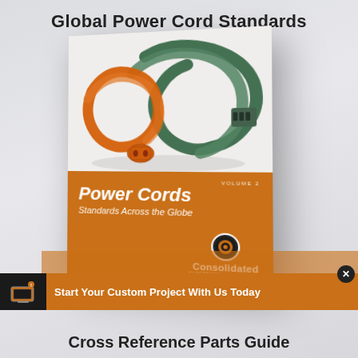Global Power Cord Standards
[Figure (photo): A 3D rendered book titled 'Power Cords Standards Across the Globe, Volume 2' by Consolidated Electronic Wire & Cable, showing orange and green power cords on the cover, on an orange/brown lower band.]
Start Your Custom Project With Us Today
Cross Reference Parts Guide